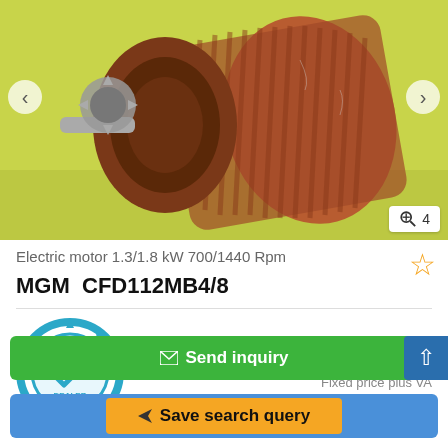[Figure (photo): Photo of an electric motor (MGM CFD112MB4/8), reddish-brown metal motor on a yellow-green surface. Navigation arrows on left and right sides. Image count badge showing magnifier icon and '4' in bottom right corner.]
Electric motor 1.3/1.8 kW 700/1440 Rpm
MGM  CFD112MB4/8
[Figure (logo): Certified Dealer badge — circular gear-shaped teal/blue emblem with checkmark and text CERTIFIED DEALER]
220 €
Fixed price plus VA
✉ Send inquiry
➤ Save search query